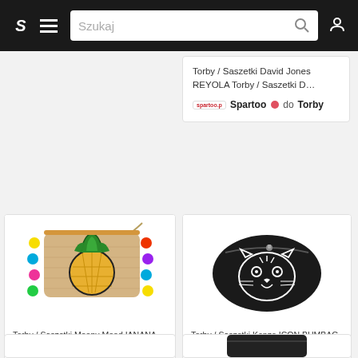S  ≡  Szukaj  🔍  👤
Torby / Saszetki David Jones REYOLA Torby / Saszetki D…
Spartoo 🔴 do Torby
[Figure (photo): Straw clutch bag with pineapple embroidery and colorful pom-pom trim]
Torby / Saszetki Moony Mood IANANA Torby / Saszetki Mo…
Spartoo 🔴 do Torby
[Figure (photo): Black Kenzo ICON BUMBAG belt bag with tiger logo]
Torby / Saszetki Kenzo ICON BUMBAG Torby / Saszetki Ke…
Spartoo 🔴 do Torby
[Figure (photo): Partial view of a black bag at bottom of page]